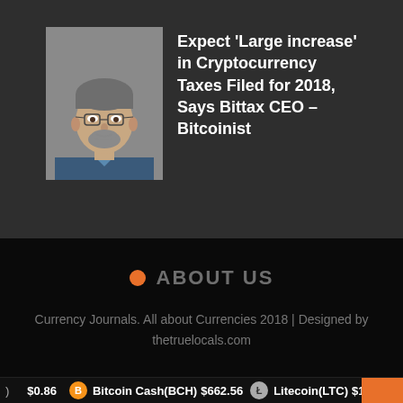[Figure (photo): Headshot of a middle-aged man with glasses and a beard, wearing a blue collar shirt, against a gray background]
Expect 'Large increase' in Cryptocurrency Taxes Filed for 2018, Says Bittax CEO – Bitcoinist
ABOUT US
Currency Journals. All about Currencies 2018 | Designed by thetruelocals.com
$0.86   Bitcoin Cash(BCH) $662.56   Litecoin(LTC) $168.42